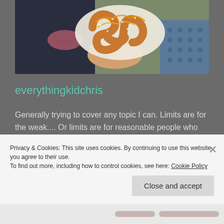[Figure (photo): Person holding a large pretzel with orange glaze drizzle, wrapped in white paper. Person wearing dark navy shirt with pink graphic. Blue perforated surface visible in background.]
everythingkidchris
Generally trying to cover any topic I can. Limits are for the weak.... Or limits are for reasonable people who value organization and regular posting schedules and actually have successful blogs... One of those.
Privacy & Cookies: This site uses cookies. By continuing to use this website, you agree to their use.
To find out more, including how to control cookies, see here: Cookie Policy
Close and accept